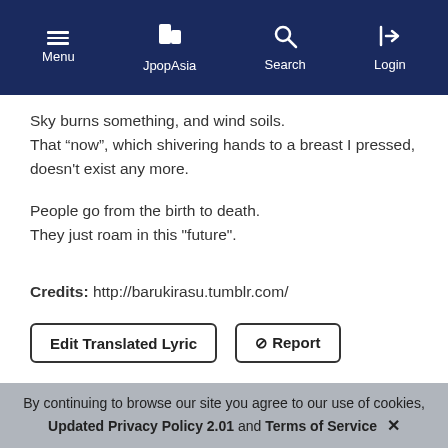Menu | JpopAsia | Search | Login
Sky burns something, and wind soils.
That “now”, which shivering hands to a breast I pressed, doesn't exist any more.
People go from the birth to death.
They just roam in this "future".
Credits: http://barukirasu.tumblr.com/
Edit Translated Lyric   ⊘ Report
By continuing to browse our site you agree to our use of cookies, Updated Privacy Policy 2.01 and Terms of Service ✕